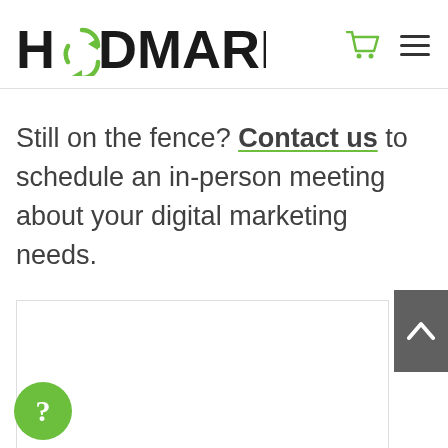HD MARKETING
Still on the fence? Contact us to schedule an in-person meeting about your digital marketing needs.
[Figure (screenshot): White content box at bottom of page, with a dark gray scroll-to-top button (chevron up arrow) on the right side and a green circular help/question mark chat bubble in the lower left corner.]